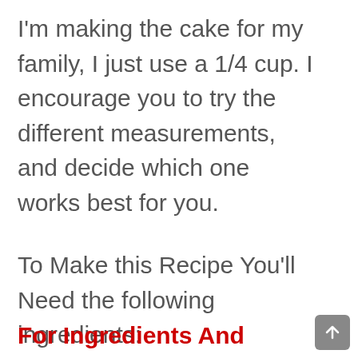I'm making the cake for my family, I just use a 1/4 cup. I encourage you to try the different measurements, and decide which one works best for you.
To Make this Recipe You'll Need the following ingredients:
For Ingredients And Complete Cooking